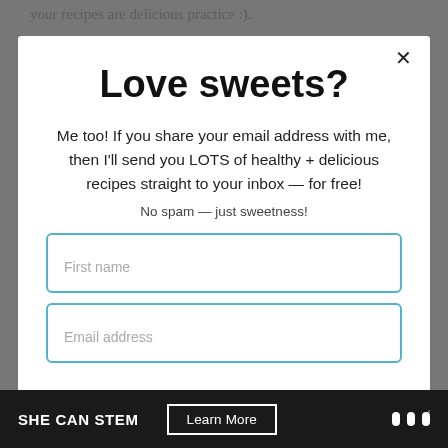your recipes are delicious practice :).
Love sweets?
Me too! If you share your email address with me, then I'll send you LOTS of healthy + delicious recipes straight to your inbox — for free!
No spam — just sweetness!
First name
Email address
SHE CAN STEM  Learn More